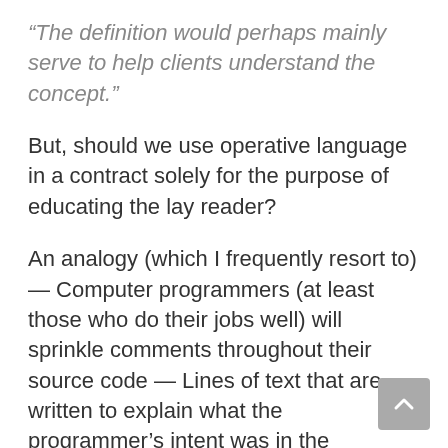“The definition would perhaps mainly serve to help clients understand the concept.”
But, should we use operative language in a contract solely for the purpose of educating the lay reader?
An analogy (which I frequently resort to) — Computer programmers (at least those who do their jobs well) will sprinkle comments throughout their source code — Lines of text that are written to explain what the programmer’s intent was in the operative code that is near that